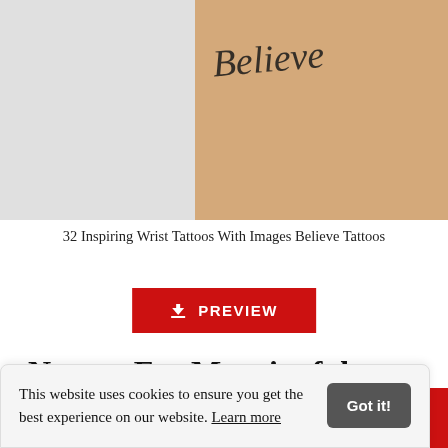[Figure (photo): A close-up photo of a wrist with a cursive tattoo reading 'Believe', split composition with grey background on left and skin-toned wrist on right.]
32 Inspiring Wrist Tattoos With Images Believe Tattoos
[Figure (other): Red PREVIEW download button with download icon]
Newest For Meaningful Inspirational Wrist Tattoos
This website uses cookies to ensure you get the best experience on our website. Learn more